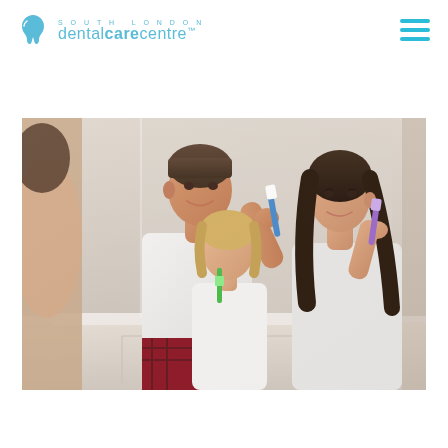SOUTH LONDON dental care centre™
[Figure (photo): A family of three — a man, a woman, and a young girl — brushing their teeth together in front of a bathroom mirror. The man in a white t-shirt is on the left, the girl with blonde wavy hair is in the center, and the woman in a light top is on the right. All three are holding toothbrushes and smiling while brushing.]